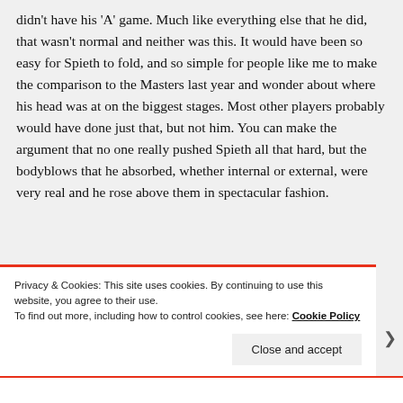didn't have his 'A' game. Much like everything else that he did, that wasn't normal and neither was this. It would have been so easy for Spieth to fold, and so simple for people like me to make the comparison to the Masters last year and wonder about where his head was at on the biggest stages. Most other players probably would have done just that, but not him. You can make the argument that no one really pushed Spieth all that hard, but the bodyblows that he absorbed, whether internal or external, were very real and he rose above them in spectacular fashion.
Privacy & Cookies: This site uses cookies. By continuing to use this website, you agree to their use.
To find out more, including how to control cookies, see here: Cookie Policy